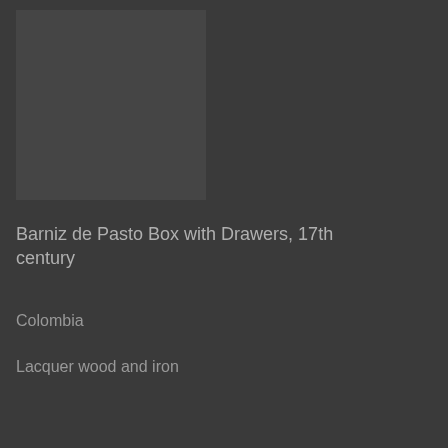[Figure (photo): Dark photograph of a lacquered wood box with drawers, barely visible against dark background]
Barniz de Pasto Box with Drawers, 17th century
Colombia
Lacquer wood and iron